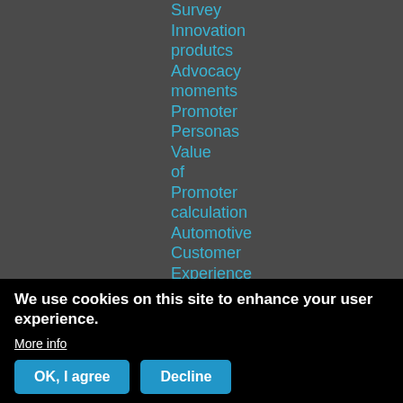Survey
Innovation produtcs
Advocacy moments
Promoter Personas
Value of Promoter calculation
Automotive Customer Experience Support
We use cookies on this site to enhance your user experience.
More info
OK, I agree
Decline